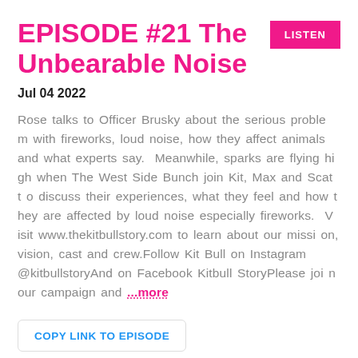EPISODE #21 The Unbearable Noise
Jul 04 2022
Rose talks to Officer Brusky about the serious problem with fireworks, loud noise, how they affect animals and what experts say.  Meanwhile, sparks are flying high when The West Side Bunch join Kit, Max and Scat to discuss their experiences, what they feel and how they are affected by loud noise especially fireworks.  Visit www.thekitbullstory.com to learn about our mission, vision, cast and crew.Follow Kit Bull on Instagram @kitbullstoryAnd on Facebook Kitbull StoryPlease join our campaign and ...more
COPY LINK TO EPISODE